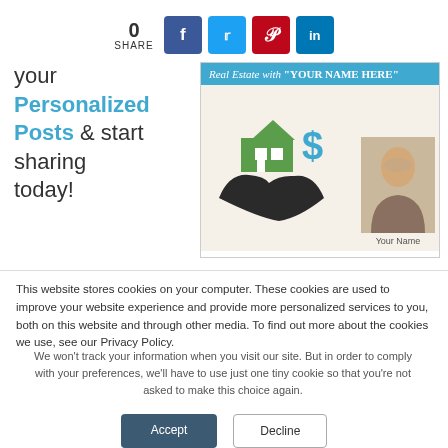[Figure (infographic): Social share bar showing count 0 and SHARE label with Facebook, Twitter, Pinterest, LinkedIn buttons]
your Personalized Posts & start sharing today!
[Figure (screenshot): Real estate personalized post preview showing header 'Real Estate with YOUR NAME HERE', icons of house and dollar sign held by hands, and agent photo placeholder with 'Your Name']
This website stores cookies on your computer. These cookies are used to improve your website experience and provide more personalized services to you, both on this website and through other media. To find out more about the cookies we use, see our Privacy Policy.
We won't track your information when you visit our site. But in order to comply with your preferences, we'll have to use just one tiny cookie so that you're not asked to make this choice again.
Accept
Decline